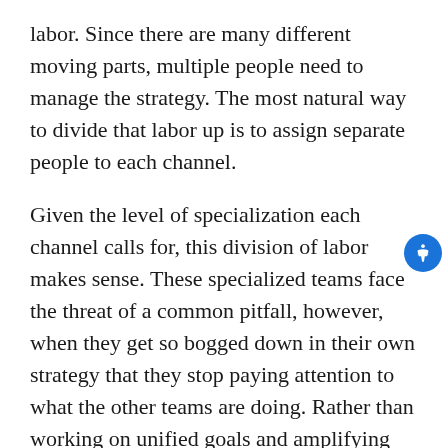labor. Since there are many different moving parts, multiple people need to manage the strategy. The most natural way to divide that labor up is to assign separate people to each channel.
Given the level of specialization each channel calls for, this division of labor makes sense. These specialized teams face the threat of a common pitfall, however, when they get so bogged down in their own strategy that they stop paying attention to what the other teams are doing. Rather than working on unified goals and amplifying one another's results, siloed teams have a tendency to duplicate each other's efforts, fail to apply each other's lessons, and roadblock each other.